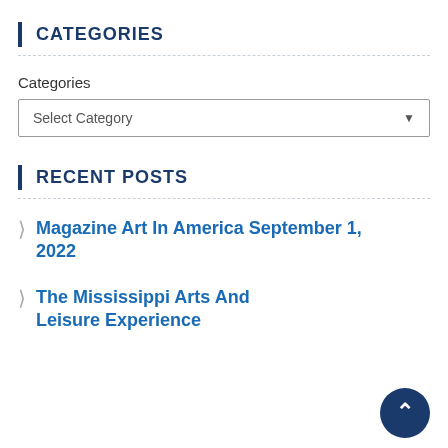CATEGORIES
Categories
Select Category
RECENT POSTS
Magazine Art In America September 1, 2022
The Mississippi Arts And Leisure Experience